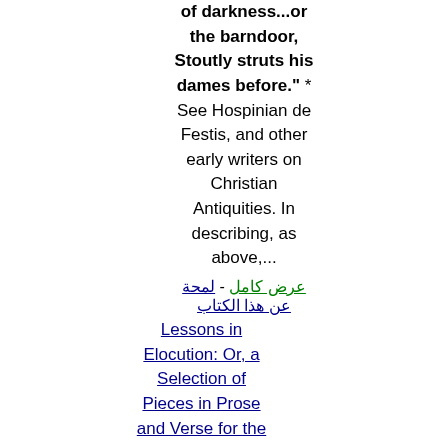of darkness...or the barndoor, Stoutly struts his dames before." * See Hospinian de Festis, and other early writers on Christian Antiquities. In describing, as above,...
عرض كامل - لمحة عن هذا الكتاب
Lessons in Elocution: Or, a Selection of Pieces in Prose and Verse for the ...
[Figure (photo): Thumbnail image of a book page]
- William Scott
1823 - عدد
الصفحات: 372
come in spite of